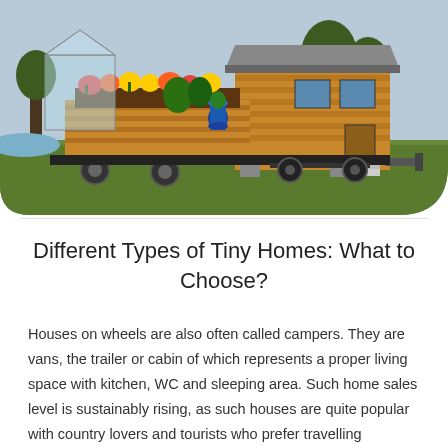[Figure (photo): A tiny house on wheels with wooden exterior, raised planter boxes filled with flowers, steps leading to entrance, parked on grass with trees in background. Image has rounded bottom corners.]
Different Types of Tiny Homes: What to Choose?
Houses on wheels are also often called campers. They are vans, the trailer or cabin of which represents a proper living space with kitchen, WC and sleeping area. Such home sales level is sustainably rising, as such houses are quite popular with country lovers and tourists who prefer travelling comfortably. Houses on wheels in Pineville are presented in all three constructive options, alcove, integrated and caravan.